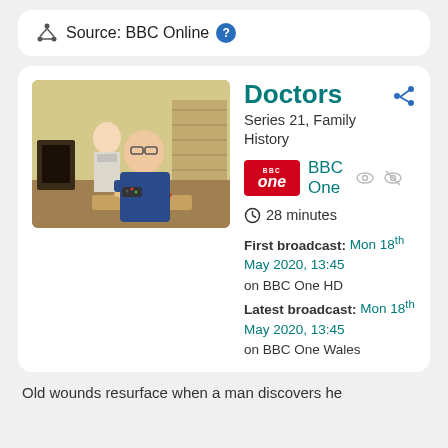Source: BBC Online ?
[Figure (photo): Two people in a living room, one holding a games controller, from the TV show Doctors]
Doctors
Series 21, Family History
[Figure (logo): BBC One red logo badge]
BBC One
28 minutes
First broadcast: Mon 18th May 2020, 13:45 on BBC One HD
Latest broadcast: Mon 18th May 2020, 13:45 on BBC One Wales
Old wounds resurface when a man discovers he